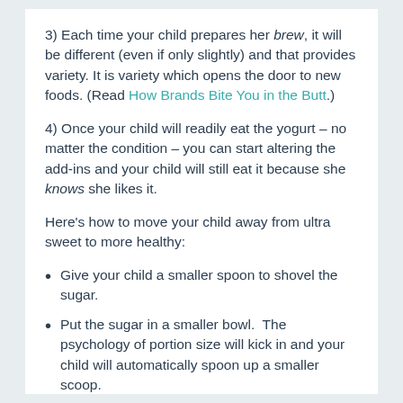3) Each time your child prepares her brew, it will be different (even if only slightly) and that provides variety. It is variety which opens the door to new foods. (Read How Brands Bite You in the Butt.)
4) Once your child will readily eat the yogurt – no matter the condition – you can start altering the add-ins and your child will still eat it because she knows she likes it.
Here's how to move your child away from ultra sweet to more healthy:
Give your child a smaller spoon to shovel the sugar.
Put the sugar in a smaller bowl.  The psychology of portion size will kick in and your child will automatically spoon up a smaller scoop.